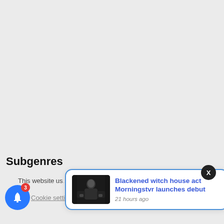Subgenres
This website us... ume you're...
Cookie settings
ACCEPT
[Figure (screenshot): Blue bell notification icon with red badge showing number 3]
[Figure (screenshot): Notification popup with image thumbnail and text: Blackened witch house act Morningstvr launches debut, 21 hours ago]
[Figure (illustration): Black circular close (X) button in top right of notification popup]